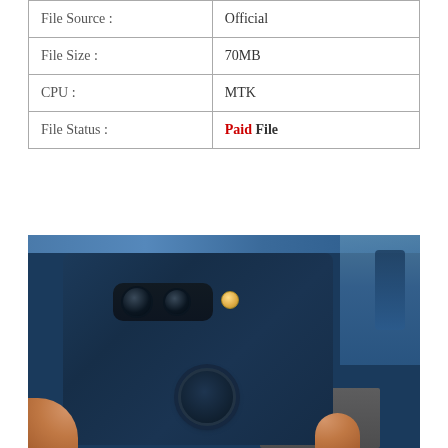| File Source : | Official |
| File Size : | 70MB |
| CPU : | MTK |
| File Status : | Paid File |
[Figure (photo): Back of a dark blue smartphone being held by a hand, showing dual camera module with flash in upper left, and circular fingerprint sensor in the center of the rear panel.]